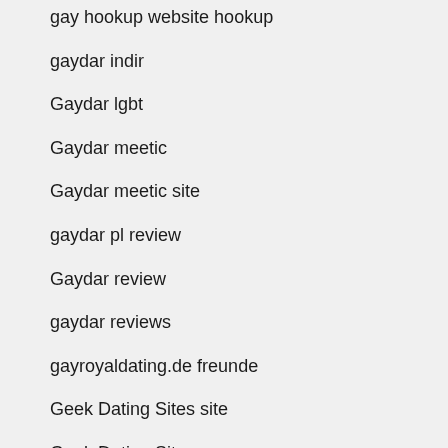gay hookup website hookup
gaydar indir
Gaydar lgbt
Gaydar meetic
Gaydar meetic site
gaydar pl review
Gaydar review
gaydar reviews
gayroyaldating.de freunde
Geek Dating Sites site
Geek Dating Sites username
geek-datingsites sites